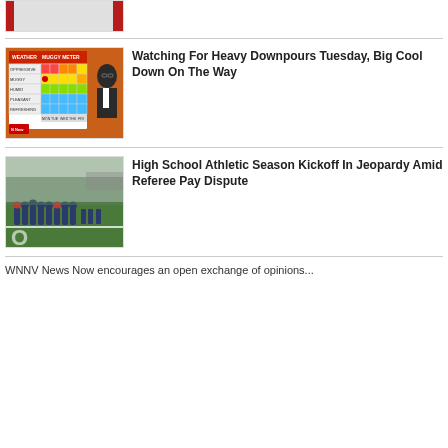[Figure (photo): Partial thumbnail image with red border on left side, cropped at top]
[Figure (photo): Weather forecast segment showing muggy meter chart with a news anchor presenter]
Watching For Heavy Downpours Tuesday, Big Cool Down On The Way
[Figure (photo): High school football players on a field during practice or game]
High School Athletic Season Kickoff In Jeopardy Amid Referee Pay Dispute
WNNV News Now encourages an open exchange of opinions...